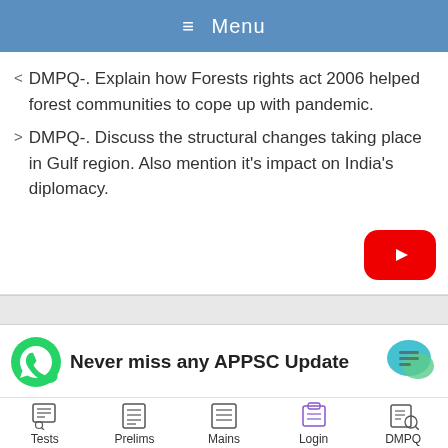≡ Menu
< DMPQ-. Explain how Forests rights act 2006 helped forest communities to cope up with pandemic.
> DMPQ-. Discuss the structural changes taking place in Gulf region. Also mention it's impact on India's diplomacy.
[Figure (logo): YouTube play button red icon]
Never miss any APPSC Update
[Figure (logo): WhatsApp green icon]
[Figure (logo): Chat bubble icon teal/green]
Tests | Prelims | Mains | Login | DMPQ